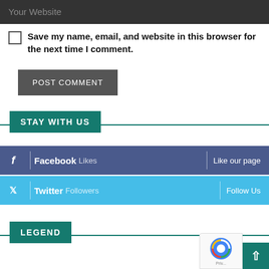Your Website
Save my name, email, and website in this browser for the next time I comment.
POST COMMENT
STAY WITH US
Facebook Likes — Like our page
Twitter Followers — Follow Us
LEGEND